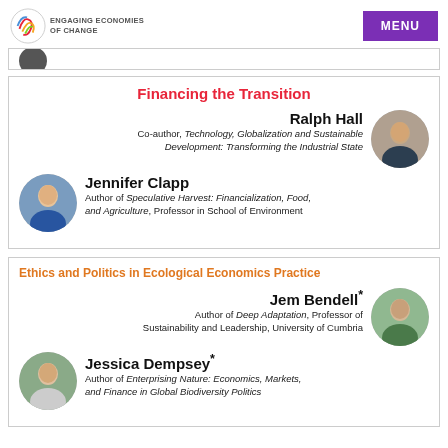ENGAGING ECONOMIES OF CHANGE | MENU
Financing the Transition
Ralph Hall
Co-author, Technology, Globalization and Sustainable Development: Transforming the Industrial State
Jennifer Clapp
Author of Speculative Harvest: Financialization, Food, and Agriculture, Professor in School of Environment
Ethics and Politics in Ecological Economics Practice
Jem Bendell*
Author of Deep Adaptation, Professor of Sustainability and Leadership, University of Cumbria
Jessica Dempsey*
Author of Enterprising Nature: Economics, Markets, and Finance in Global Biodiversity Politics